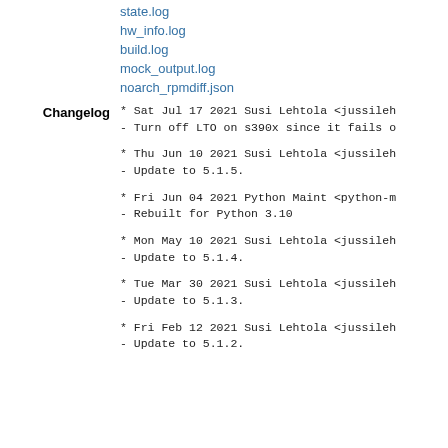state.log
hw_info.log
build.log
mock_output.log
noarch_rpmdiff.json
Changelog
* Sat Jul 17 2021 Susi Lehtola <jussileh
- Turn off LTO on s390x since it fails o
* Thu Jun 10 2021 Susi Lehtola <jussileh
- Update to 5.1.5.
* Fri Jun 04 2021 Python Maint <python-m
- Rebuilt for Python 3.10
* Mon May 10 2021 Susi Lehtola <jussileh
- Update to 5.1.4.
* Tue Mar 30 2021 Susi Lehtola <jussileh
- Update to 5.1.3.
* Fri Feb 12 2021 Susi Lehtola <jussileh
- Update to 5.1.2.